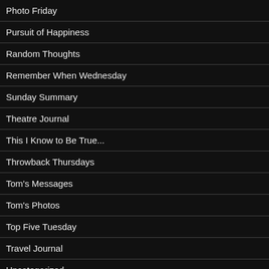Photo Friday
Pursuit of Happiness
Random Thoughts
Remember When Wednesday
Sunday Summary
Theatre Journal
This I Know to Be True...
Throwback Thursdays
Tom's Messages
Tom's Photos
Top Five Tuesday
Travel Journal
Uncategorized